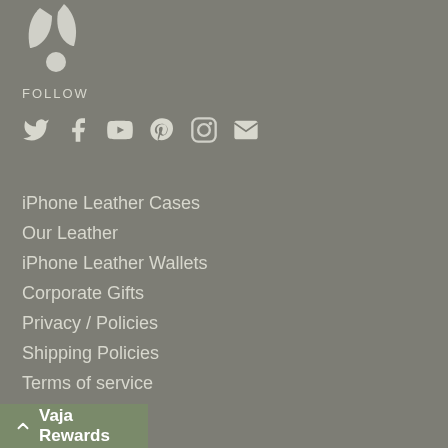[Figure (logo): Vaja brand logo - leaf/plant shape in white/light grey at top left]
FOLLOW
[Figure (infographic): Social media icons: Twitter, Facebook, YouTube, Pinterest, Instagram, Email]
iPhone Leather Cases
Our Leather
iPhone Leather Wallets
Corporate Gifts
Privacy / Policies
Shipping Policies
Terms of service
Contact Us
Returns
Vaja Rewards